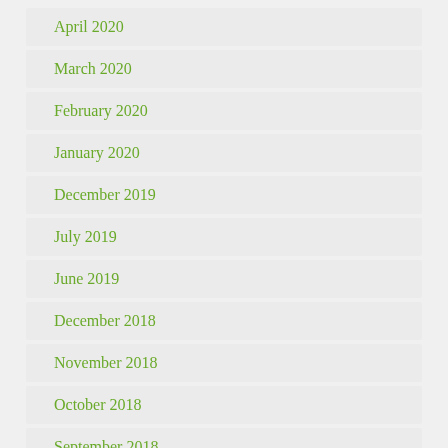April 2020
March 2020
February 2020
January 2020
December 2019
July 2019
June 2019
December 2018
November 2018
October 2018
September 2018